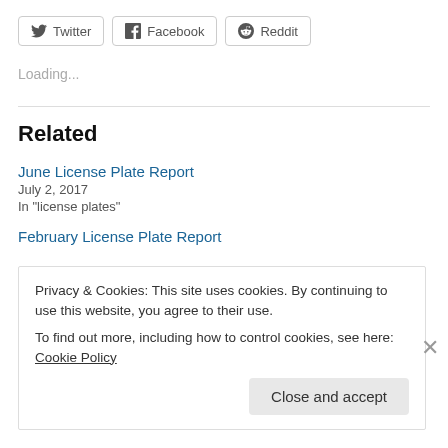[Figure (other): Social share buttons: Twitter, Facebook, Reddit]
Loading...
Related
June License Plate Report
July 2, 2017
In "license plates"
February License Plate Report
Privacy & Cookies: This site uses cookies. By continuing to use this website, you agree to their use.
To find out more, including how to control cookies, see here: Cookie Policy